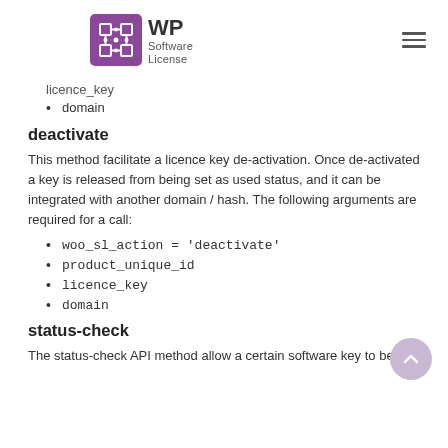WP Software License
licence_key
domain
deactivate
This method facilitate a licence key de-activation. Once de-activated a key is released from being set as used status, and it can be integrated with another domain / hash. The following arguments are required for a call:
woo_sl_action = 'deactivate'
product_unique_id
licence_key
domain
status-check
The status-check API method allow a certain software key to be